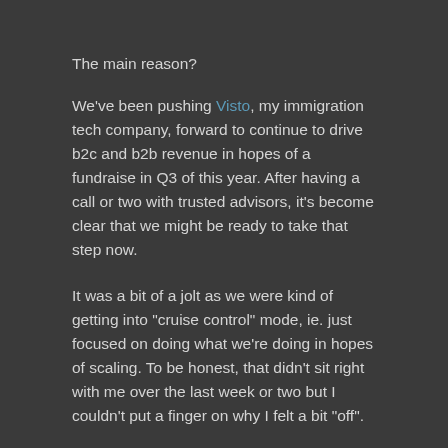The main reason?
We've been pushing Visto, my immigration tech company, forward to continue to drive b2c and b2b revenue in hopes of a fundraise in Q3 of this year. After having a call or two with trusted advisors, it's become clear that we might be ready to take that step now.
It was a bit of a jolt as we were kind of getting into "cruise control" mode, ie. just focused on doing what we're doing in hopes of scaling. To be honest, that didn't sit right with me over the last week or two but I couldn't put a finger on why I felt a bit "off".
So when one of our advisors told us we likely have what it takes to pull the trigger on a fundraise now, I had a bit of an "aha" moment and it made sense.